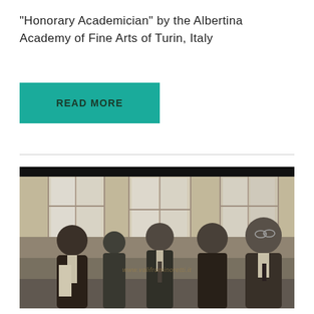“Honorary Academician” by the Albertina Academy of Fine Arts of Turin, Italy
READ MORE
[Figure (photo): Black and white / sepia-toned photograph of five men in suits standing in a room with large windows. A watermark reads www.valifrominoretti.it. The men appear to be at a formal or cultural event.]